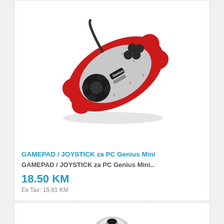[Figure (photo): Genius Mini gamepad/joystick for PC. A red and silver compact USB gamepad with a D-pad on the left and four buttons on the right, photographed at an angle on a white background.]
GAMEPAD / JOYSTICK za PC Genius Mini
GAMEPAD / JOYSTICK za PC Genius Mini..
18.50 KM
Ex Tax: 15.81 KM
[Figure (photo): Partial view of a second gamepad/joystick product, showing the top portion of a gray and white joystick.]